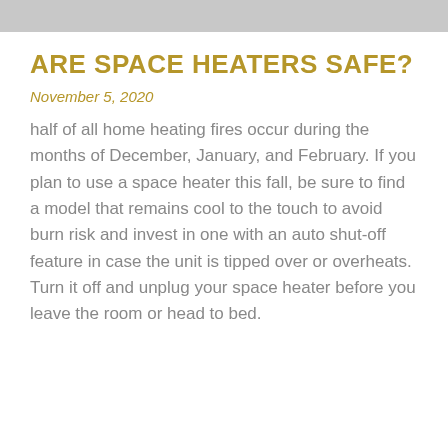[Figure (photo): Partial image strip at top of page, appears to be a cropped photo]
ARE SPACE HEATERS SAFE?
November 5, 2020
half of all home heating fires occur during the months of December, January, and February. If you plan to use a space heater this fall, be sure to find a model that remains cool to the touch to avoid burn risk and invest in one with an auto shut-off feature in case the unit is tipped over or overheats. Turn it off and unplug your space heater before you leave the room or head to bed.